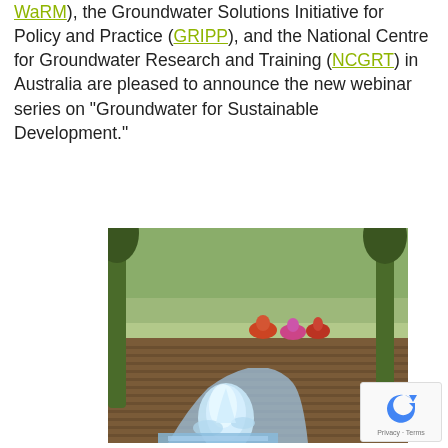WaRM), the Groundwater Solutions Initiative for Policy and Practice (GRIPP), and the National Centre for Groundwater Research and Training (NCGRT) in Australia are pleased to announce the new webinar series on "Groundwater for Sustainable Development."
[Figure (photo): Agricultural field scene showing workers in colorful clothing tending crops in a plowed field with trees in the background, and in the foreground a gushing water source/pump spraying water into an irrigation channel.]
[Figure (logo): Google reCAPTCHA badge with spinning arrow icon and Privacy - Terms text]